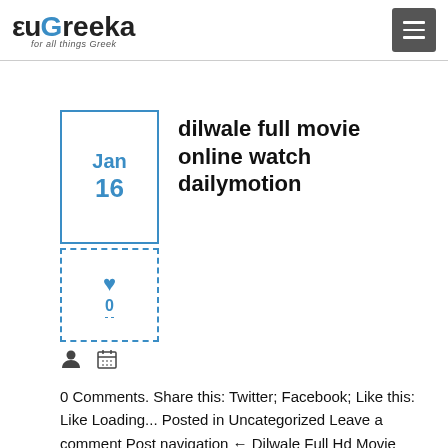euGreeka for all things Greek
dilwale full movie online watch dailymotion
Jan 16
0
0 Comments. Share this: Twitter; Facebook; Like this: Like Loading... Posted in Uncategorized Leave a comment Post navigation ← Dilwale Full Hd Movie Online. Online Piracy strikes again with Dilwale Full Movie Download 'Dilwale' is a 2015 Hindi Romantic Action Comedy movie directed by